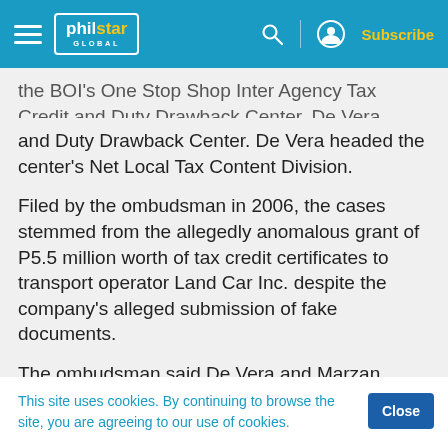philstar GLOBAL
the BOI's One Stop Shop Inter Agency Tax Credit and Duty Drawback Center. De Vera headed the center's Net Local Tax Content Division.
Filed by the ombudsman in 2006, the cases stemmed from the allegedly anomalous grant of P5.5 million worth of tax credit certificates to transport operator Land Car Inc. despite the company's alleged submission of fake documents.
The ombudsman said De Vera and Marzan p r c
This site uses cookies. By continuing to browse the site, you are agreeing to our use of cookies.